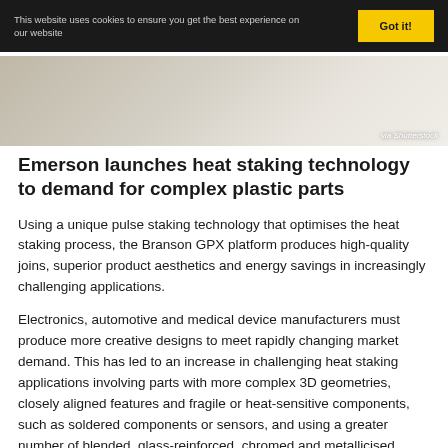This website uses cookies to ensure you get the best experience on our website
[Figure (photo): Close-up photo of heat staking / plastic manufacturing process, credited via Shutterstock]
Emerson launches heat staking technology to demand for complex plastic parts
Using a unique pulse staking technology that optimises the heat staking process, the Branson GPX platform produces high-quality joins, superior product aesthetics and energy savings in increasingly challenging applications.
Electronics, automotive and medical device manufacturers must produce more creative designs to meet rapidly changing market demand. This has led to an increase in challenging heat staking applications involving parts with more complex 3D geometries, closely aligned features and fragile or heat-sensitive components, such as soldered components or sensors, and using a greater number of blended, glass-reinforced, chromed and metallicised